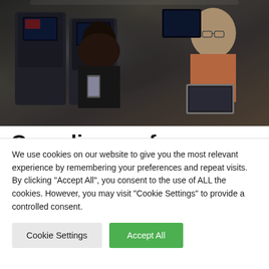[Figure (photo): Airplane cabin interior showing passengers seated in economy class, with seatback entertainment screens visible. People are using phones and tablets. View is from behind the seats.]
Canadian professor mask-shames flight attendant but it backfires spectacularly as he
We use cookies on our website to give you the most relevant experience by remembering your preferences and repeat visits. By clicking "Accept All", you consent to the use of ALL the cookies. However, you may visit "Cookie Settings" to provide a controlled consent.